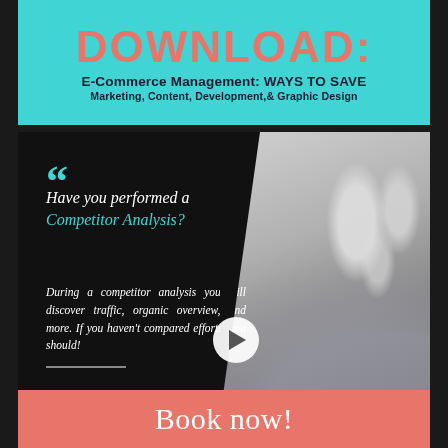DOWNLOAD:
E-Commerce Management: WAYS TO SAVE
Marketing, Content, Development, & Graphic Design
[Figure (photo): Dark background card with chess pieces photo on right half and quote text on left. Shows glass chess pieces on a chessboard. Quote reads: Have you performed a Competitor Analysis? During a competitor analysis you will discover traffic, organic overview, and more. If you haven't compared efforts, you should! A play button circle is overlaid in the center.]
Book now!